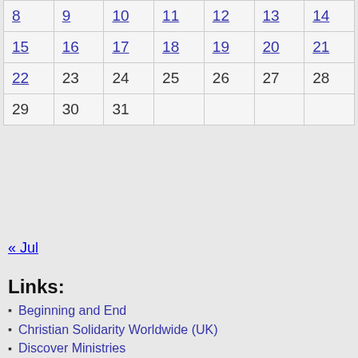| 8 | 9 | 10 | 11 | 12 | 13 | 14 |
| 15 | 16 | 17 | 18 | 19 | 20 | 21 |
| 22 | 23 | 24 | 25 | 26 | 27 | 28 |
| 29 | 30 | 31 |  |  |  |  |
« Jul
Links:
Beginning and End
Christian Solidarity Worldwide (UK)
Discover Ministries
God TV
Proposal 21 and The Illuminati
SkyWatchTV
The Alpha Course
The Bread of Life
The Steve Quayle website
The Voice of the Martyrs